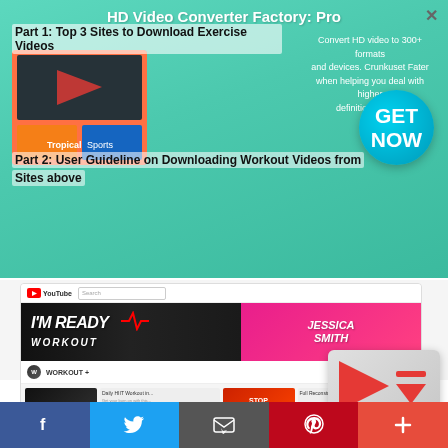[Figure (screenshot): HD Video Converter Factory Pro advertisement banner overlaid on page content, with teal/green gradient background, product screenshots, 'GET NOW' circular button, and text about converting HD video to 300+ formats]
Part 1: Top 3 Sites to Download Exercise Videos
Part 2: User Guideline on Downloading Workout Videos from Sites above
[Figure (screenshot): YouTube workout video channel page showing 'I'M READY WORKOUT' banner, Jessica Smith TV channel, video thumbnails including 'WORKOUT' logo video and 'STOP STARTING OVER!' video, with a download button overlay in bottom right]
YouTube Workout Video Downloader
Facebook  Twitter  Email  Pinterest  Plus